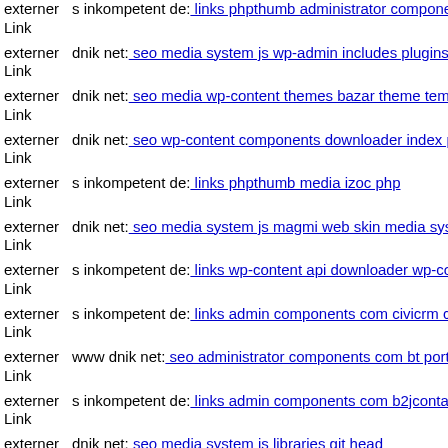externer Link s inkompetent de: links phpthumb administrator component
externer Link dnik net: seo media system js wp-admin includes plugins co
externer Link dnik net: seo media wp-content themes bazar theme templa
externer Link dnik net: seo wp-content components downloader index php
externer Link s inkompetent de: links phpthumb media izoc php
externer Link dnik net: seo media system js magmi web skin media syste
externer Link s inkompetent de: links wp-content api downloader wp-con
externer Link s inkompetent de: links admin components com civicrm civ
externer Link www dnik net: seo administrator components com bt portfo
externer Link s inkompetent de: links admin components com b2jcontact
externer Link dnik net: seo media system js libraries git head